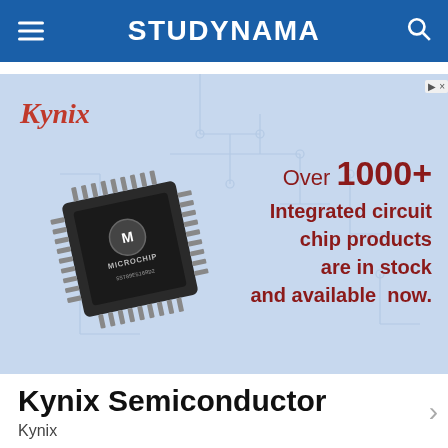STUDYNAMA
[Figure (photo): Kynix Semiconductor advertisement banner. Shows a Microchip Technology TQFP integrated circuit chip (SST89E516RD2) on a light blue background with circuit board watermark. Text reads: 'Kynix' (logo, red italic), 'Over 1000+ Integrated circuit chip products are in stock and available now.' in dark red.]
Kynix Semiconductor
Kynix